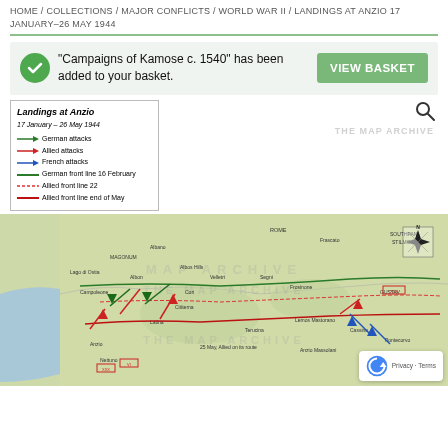HOME / COLLECTIONS / MAJOR CONFLICTS / WORLD WAR II / LANDINGS AT ANZIO 17 JANUARY–26 MAY 1944
"Campaigns of Kamose c. 1540" has been added to your basket.
[Figure (map): Military map showing Landings at Anzio 17 January – 26 May 1944 with legend showing German attacks, Allied attacks, French attacks, German front line 16 February, Allied front line 22, Allied front line end of May. Map shows central Italy with military unit positions and movement arrows. Watermarked with THE MAP ARCHIVE.]